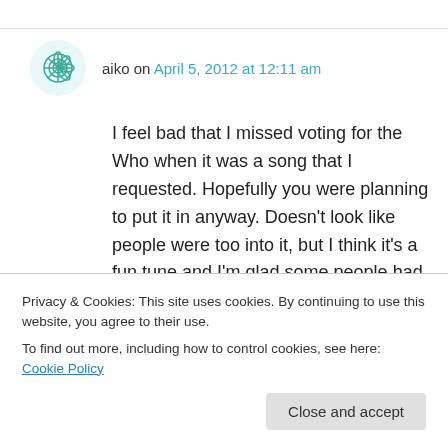aiko on April 5, 2012 at 12:11 am
I feel bad that I missed voting for the Who when it was a song that I requested. Hopefully you were planning to put it in anyway. Doesn't look like people were too into it, but I think it's a fun tune and I'm glad some people had to listen to some stuff that isn't on, like, Who's Next.
Livin' For The City (Stevie Wonder): 8.5
The Rover (Led Zeppelin): 2
about some of these scores for “Love Will Tear
Privacy & Cookies: This site uses cookies. By continuing to use this website, you agree to their use.
To find out more, including how to control cookies, see here: Cookie Policy